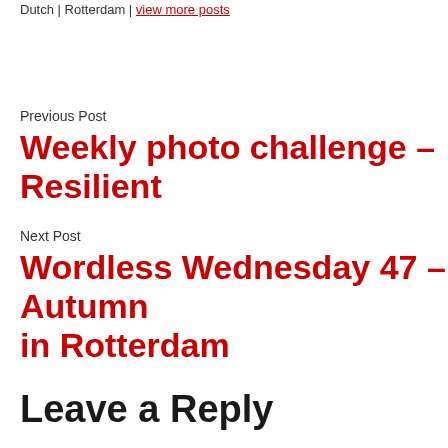Dutch | Rotterdam | view more posts
Previous Post
Weekly photo challenge – Resilient
Next Post
Wordless Wednesday 47 – Autumn in Rotterdam
Leave a Reply